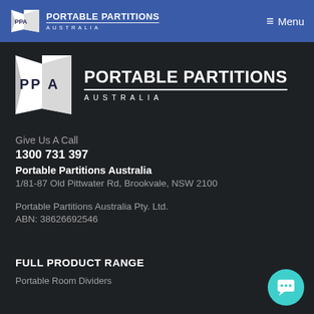PPA PORTABLE PARTITIONS AUSTRALIA — Menu
[Figure (logo): Portable Partitions Australia logo — large white folded banner with PPA letters and company name]
Give Us A Call
1300 731 397
Portable Partitions Australia
1/81-87 Old Pittwater Rd, Brookvale, NSW 2100
Portable Partitions Australia Pty. Ltd.
ABN: 38626692546
FULL PRODUCT RANGE
Portable Room Dividers